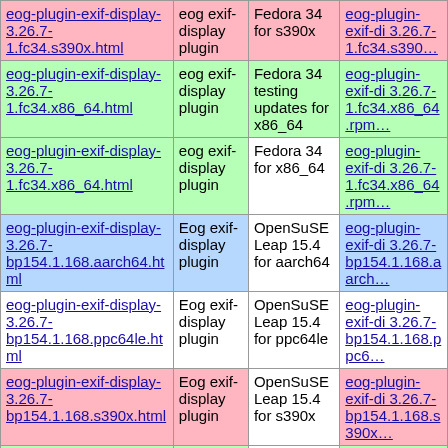| Link | Description | Platform | RPM Link |
| --- | --- | --- | --- |
| eog-plugin-exif-display-3.26.7-1.fc34.s390x.html | eog exif-display plugin | Fedora 34 for s390x | eog-plugin-exif-di 3.26.7-1.fc34.s390… |
| eog-plugin-exif-display-3.26.7-1.fc34.x86_64.html | eog exif-display plugin | Fedora 34 testing updates for x86_64 | eog-plugin-exif-di 3.26.7-1.fc34.x86_64.rpm |
| eog-plugin-exif-display-3.26.7-1.fc34.x86_64.html | eog exif-display plugin | Fedora 34 for x86_64 | eog-plugin-exif-di 3.26.7-1.fc34.x86_64.rpm |
| eog-plugin-exif-display-3.26.7-bp154.1.168.aarch64.html | Eog exif-display plugin | OpenSuSE Leap 15.4 for aarch64 | eog-plugin-exif-di 3.26.7-bp154.1.168.aarch… |
| eog-plugin-exif-display-3.26.7-bp154.1.168.ppc64le.html | Eog exif-display plugin | OpenSuSE Leap 15.4 for ppc64le | eog-plugin-exif-di 3.26.7-bp154.1.168.ppc6… |
| eog-plugin-exif-display-3.26.7-bp154.1.168.s390x.html | Eog exif-display plugin | OpenSuSE Leap 15.4 for s390x | eog-plugin-exif-di 3.26.7-bp154.1.168.s390x… |
| eog-plugin-exif-display-3.26.7-bp154.1.168.x86_64.html | Eog exif-display plugin | OpenSuSE Leap 15.4 for x86_64 | eog-plugin-exif-di 3.26.7-bp154.1.168.x86_6… |
| eog-plugin-exif-display- | Eog exif- | OpenSuSE … | eog-plugin-exif-di |